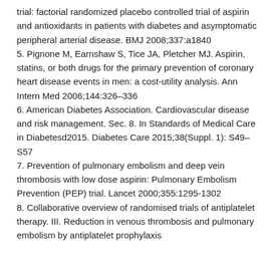trial: factorial randomized placebo controlled trial of aspirin and antioxidants in patients with diabetes and asymptomatic peripheral arterial disease. BMJ 2008;337:a1840
5. Pignone M, Earnshaw S, Tice JA, Pletcher MJ. Aspirin, statins, or both drugs for the primary prevention of coronary heart disease events in men: a cost-utility analysis. Ann Intern Med 2006;144:326–336
6. American Diabetes Association. Cardiovascular disease and risk management. Sec. 8. In Standards of Medical Care in Diabetesd2015. Diabetes Care 2015;38(Suppl. 1): S49–S57
7. Prevention of pulmonary embolism and deep vein thrombosis with low dose aspirin: Pulmonary Embolism Prevention (PEP) trial. Lancet 2000;355:1295-1302
8. Collaborative overview of randomised trials of antiplatelet therapy. III. Reduction in venous thrombosis and pulmonary embolism by antiplatelet prophylaxis